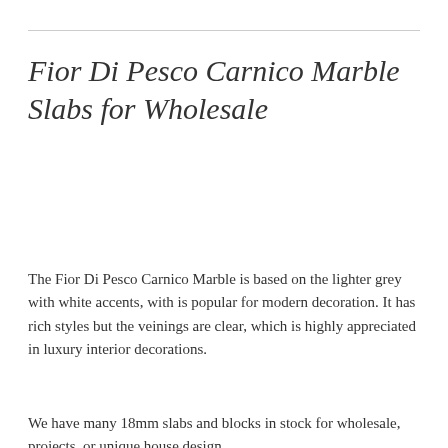Fior Di Pesco Carnico Marble Slabs for Wholesale
The Fior Di Pesco Carnico Marble is based on the lighter grey with white accents, with is popular for modern decoration. It has rich styles but the veinings are clear, which is highly appreciated in luxury interior decorations.
We have many 18mm slabs and blocks in stock for wholesale, projects, or unique house design